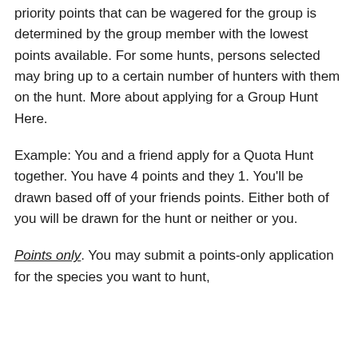priority points that can be wagered for the group is determined by the group member with the lowest points available. For some hunts, persons selected may bring up to a certain number of hunters with them on the hunt. More about applying for a Group Hunt Here.
Example: You and a friend apply for a Quota Hunt together. You have 4 points and they 1. You'll be drawn based off of your friends points. Either both of you will be drawn for the hunt or neither or you.
Points only. You may submit a points-only application for the species you want to hunt,